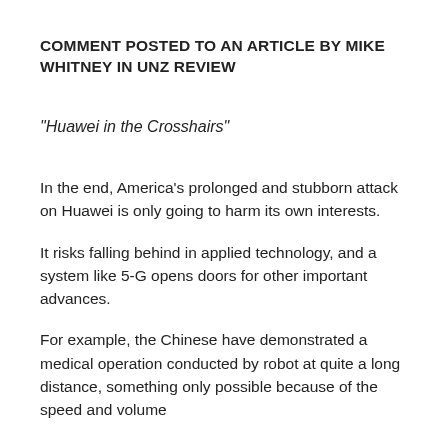COMMENT POSTED TO AN ARTICLE BY MIKE WHITNEY IN UNZ REVIEW
“Huawei in the Crosshairs”
In the end, America’s prolonged and stubborn attack on Huawei is only going to harm its own interests.
It risks falling behind in applied technology, and a system like 5-G opens doors for other important advances.
For example, the Chinese have demonstrated a medical operation conducted by robot at quite a long distance, something only possible because of the speed and volume